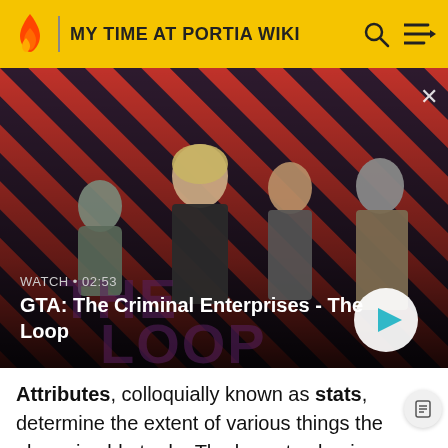MY TIME AT PORTIA WIKI
[Figure (screenshot): GTA: The Criminal Enterprises - The Loop promotional video thumbnail. Four characters stand against a red diagonal striped background. Text overlay reads WATCH • 02:53 and GTA: The Criminal Enterprises - The Loop. A play button circle is visible in the lower right of the banner.]
Attributes, colloquially known as stats, determine the extent of various things the player is able to do. The lowest value is zero, with higher numbers indicating stronger capabilities. These attributes improve as the player character's experience level